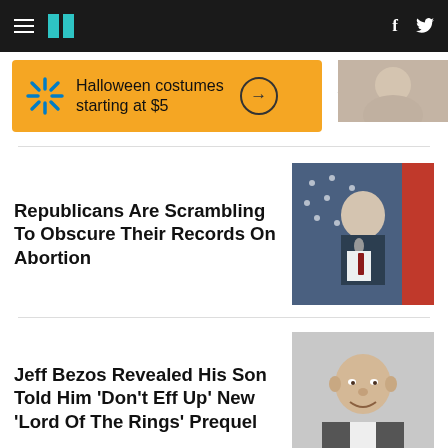HuffPost navigation bar with hamburger menu, logo, Facebook and Twitter icons
[Figure (other): Walmart advertisement banner: orange background with Walmart spark logo, text 'Halloween costumes starting at $5', arrow circle button]
[Figure (photo): Partial photo of a person in top right corner]
Republicans Are Scrambling To Obscure Their Records On Abortion
[Figure (photo): Photo of a man speaking into a microphone in front of an American flag]
Jeff Bezos Revealed His Son Told Him 'Don't Eff Up' New 'Lord Of The Rings' Prequel
[Figure (photo): Photo of Jeff Bezos smiling]